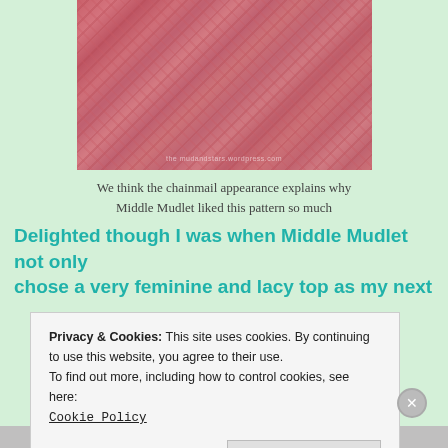[Figure (photo): Close-up photo of pink/rose knitted or crocheted fabric showing a chainmail-like lacy pattern. A faint watermark is visible at the bottom of the image.]
We think the chainmail appearance explains why Middle Mudlet liked this pattern so much
Delighted though I was when Middle Mudlet not only chose a very feminine and lacy top as my next
Privacy & Cookies: This site uses cookies. By continuing to use this website, you agree to their use.
To find out more, including how to control cookies, see here:
Cookie Policy
Close and accept